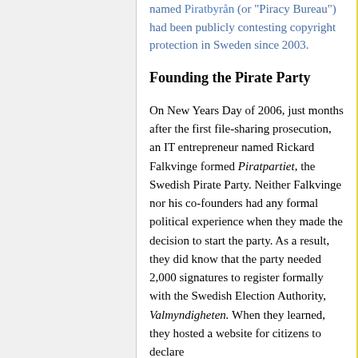named Piratbyrån (or "Piracy Bureau") had been publicly contesting copyright protection in Sweden since 2003.
Founding the Pirate Party
On New Years Day of 2006, just months after the first file-sharing prosecution, an IT entrepreneur named Rickard Falkvinge formed Piratpartiet, the Swedish Pirate Party. Neither Falkvinge nor his co-founders had any formal political experience when they made the decision to start the party. As a result, they did know that the party needed 2,000 signatures to register formally with the Swedish Election Authority, Valmyndigheten. When they learned, they hosted a website for citizens to declare